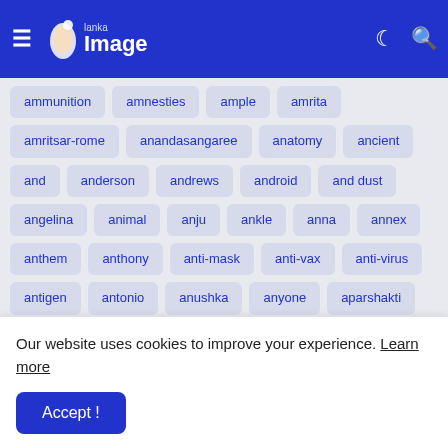Lanka Image
ammunition
amnesties
ample
amrita
amritsar-rome
anandasangaree
anatomy
ancient
and
anderson
andrews
android
and dust
angelina
animal
anju
ankle
anna
annex
anthem
anthony
anti-mask
anti-vax
anti-virus
antigen
antonio
anushka
anyone
aparshakti
apart
apartheid
apidm
apologises
apologists
appealing
appear
appearance
apple&#8217;s
Our website uses cookies to improve your experience. Learn more
Accept !